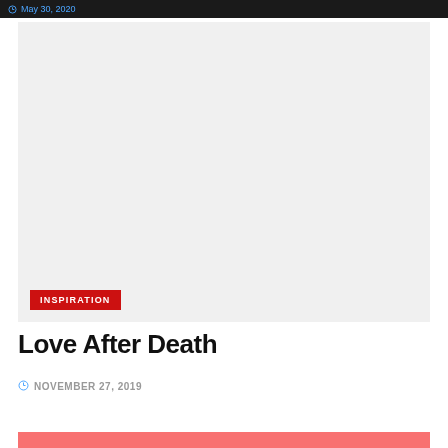May 30, 2020
[Figure (photo): Large light gray placeholder image with an INSPIRATION red badge label in the lower left corner]
Love After Death
NOVEMBER 27, 2019